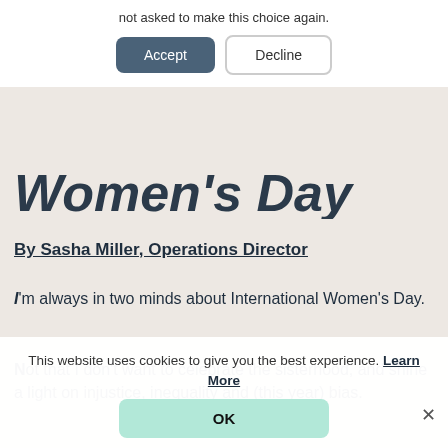not asked to make this choice again.
Accept   Decline
Women's Day
By Sasha Miller, Operations Director
I'm always in two minds about International Women's Day.
Not that I don't want to celebrate the sisterhood, and shine a light on injustice, inequality and (this year) bias.
This website uses cookies to give you the best experience. Learn More
OK